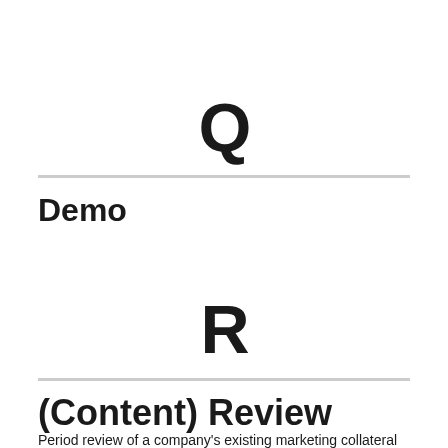Q
Demo
R
(Content) Review
Period review of a company's existing marketing collateral